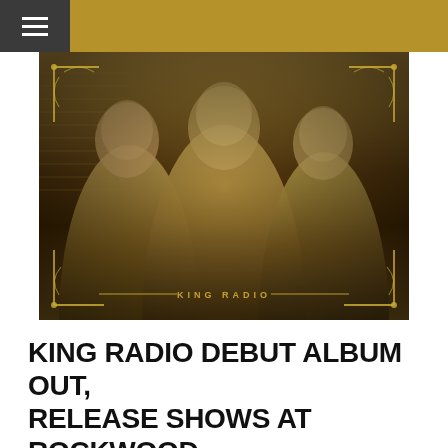≡
[Figure (photo): Sepia-toned band photo of three men (King Radio) standing on a street, wearing dark coats and scarves, with gold ornamental decorations overlaid at corners and a 'KING RADIO' text banner at the bottom of the image.]
KING RADIO DEBUT ALBUM OUT, RELEASE SHOWS AT ROCKWOOD THIS WEEKEND